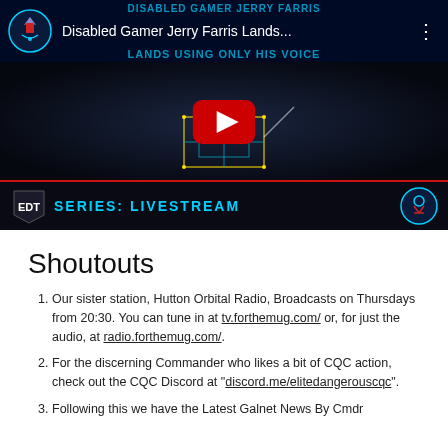[Figure (screenshot): YouTube video thumbnail for 'Disabled Gamer Jerry Farris Lands...' showing a top-down view of a space station scene with a red YouTube play button, EDT logo, and 'SERIES: LIVESTREAM' label at the bottom]
Shoutouts
Our sister station, Hutton Orbital Radio, Broadcasts on Thursdays from 20:30. You can tune in at tv.forthemug.com/ or, for just the audio, at radio.forthemug.com/.
For the discerning Commander who likes a bit of CQC action, check out the CQC Discord at "discord.me/elitedangerouscqc".
Following this we have the Latest Galnet News By Cmdr